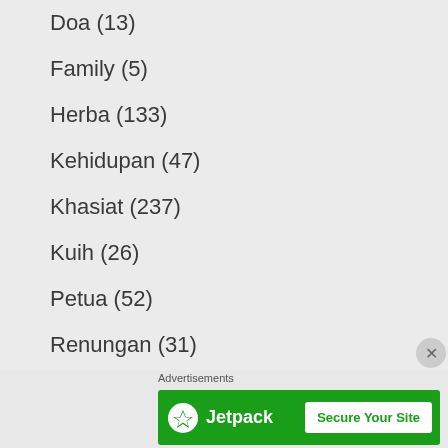Doa (13)
Family (5)
Herba (133)
Kehidupan (47)
Khasiat (237)
Kuih (26)
Petua (52)
Renungan (31)
Resipi (457)
Review (2)
Sayur (28)
Advertisements
[Figure (screenshot): Jetpack 'Secure Your Site' advertisement banner on green background]